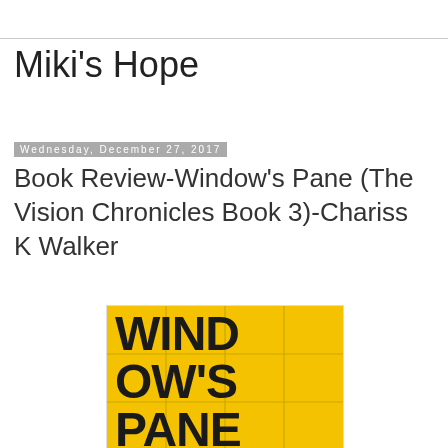Miki's Hope
Wednesday, December 27, 2017
Book Review-Window's Pane (The Vision Chronicles Book 3)-Chariss K Walker
[Figure (illustration): Book cover for Window's Pane showing large bold black text on a yellow grid/pane background reading WINDOW'S PANE]